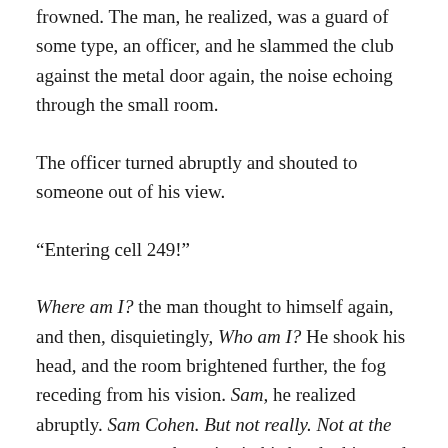frowned. The man, he realized, was a guard of some type, an officer, and he slammed the club against the metal door again, the noise echoing through the small room.
The officer turned abruptly and shouted to someone out of his view.
“Entering cell 249!”
Where am I? the man thought to himself again, and then, disquietingly, Who am I? He shook his head, and the room brightened further, the fog receding from his vision. Sam, he realized abruptly. Sam Cohen. But not really. Not at the moment anyway, the voice in his head whispered.